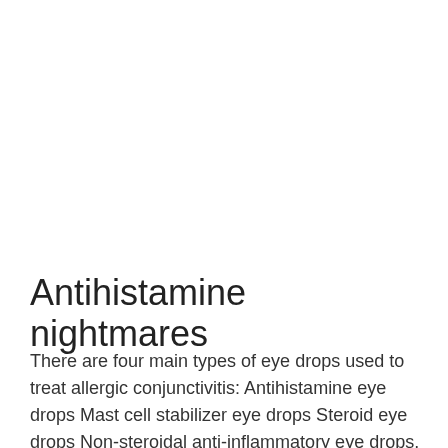Antihistamine nightmares
There are four main types of eye drops used to treat allergic conjunctivitis: Antihistamine eye drops Mast cell stabilizer eye drops Steroid eye drops Non-steroidal anti-inflammatory eye drops. You probably know at least one of these four, but perhaps not all. Here are some common questions asked by people dealing with allergic conjunctivitis: